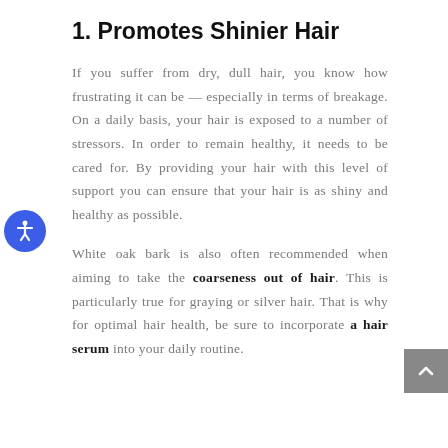1. Promotes Shinier Hair
If you suffer from dry, dull hair, you know how frustrating it can be — especially in terms of breakage. On a daily basis, your hair is exposed to a number of stressors. In order to remain healthy, it needs to be cared for. By providing your hair with this level of support you can ensure that your hair is as shiny and healthy as possible.
White oak bark is also often recommended when aiming to take the coarseness out of hair. This is particularly true for graying or silver hair. That is why for optimal hair health, be sure to incorporate a hair serum into your daily routine.